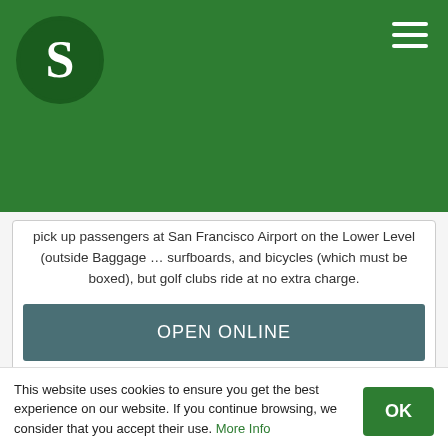[Figure (logo): Green circular logo with white S letter]
pick up passengers at San Francisco Airport on the Lower Level (outside Baggage … surfboards, and bicycles (which must be boxed), but golf clubs ride at no extra charge.
OPEN ONLINE
Schedule | Sonoma County Airport Express Inc.
Let our buses drop you off only steps away from skycap stations at the airport and pick you up
This website uses cookies to ensure you get the best experience on our website. If you continue browsing, we consider that you accept their use. More Info